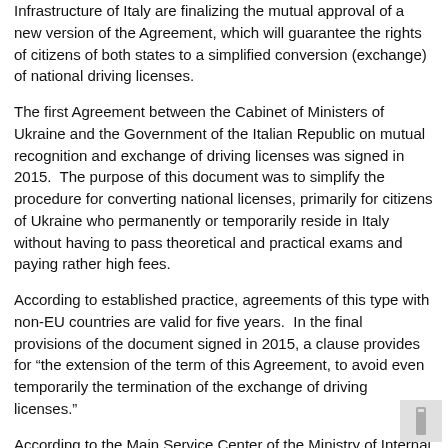Infrastructure of Italy are finalizing the mutual approval of a new version of the Agreement, which will guarantee the rights of citizens of both states to a simplified conversion (exchange) of national driving licenses.
The first Agreement between the Cabinet of Ministers of Ukraine and the Government of the Italian Republic on mutual recognition and exchange of driving licenses was signed in 2015.  The purpose of this document was to simplify the procedure for converting national licenses, primarily for citizens of Ukraine who permanently or temporarily reside in Italy without having to pass theoretical and practical exams and paying rather high fees.
According to established practice, agreements of this type with non-EU countries are valid for five years.  In the final provisions of the document signed in 2015, a clause provides for "the extension of the term of this Agreement, to avoid even temporarily the termination of the exchange of driving licenses."
According to the Main Service Center of the Ministry of Internal Affairs of Ukraine, 81 driving licenses were exchanged by Italian citizens who live in Ukraine during the period of the Agreement.  Also, some 16400 requests for the exchange of national driving licenses from Ukrainian citizens in Italy were received and processed.